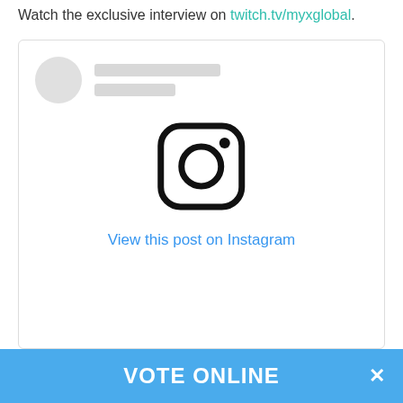Watch the exclusive interview on twitch.tv/myxglobal.
[Figure (screenshot): Instagram embedded post placeholder showing avatar placeholder, skeleton text lines, Instagram camera logo icon in center, and a 'View this post on Instagram' link in blue]
View this post on Instagram
VOTE ONLINE